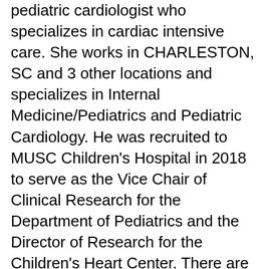pediatric cardiologist who specializes in cardiac intensive care. She works in CHARLESTON, SC and 3 other locations and specializes in Internal Medicine/Pediatrics and Pediatric Cardiology. He was recruited to MUSC Children's Hospital in 2018 to serve as the Vice Chair of Clinical Research for the Department of Pediatrics and the Director of Research for the Children's Heart Center. There are 25 specialists practicing Pediatric Cardiology in Charleston, SC with an overall average rating of 4.0 stars. Nondiscrimination and Accessibility Requirements and Taglines (1557) If you need language interpreter assistance, please use the link below: Interpreter Service Taglines; Contact Us. He also served as the national principal investigator for the REDUCE trial for the management of patients for stroke-related patent foramen ovale device closure and is an investigator for trials including the Edwards Lifesciences transcatheter SAPIEN pulmonary stent valve, the MELODY pulmonary stent valve post approval study, the new CARDIOFORM